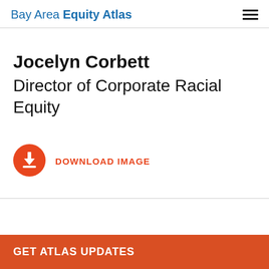Bay Area Equity Atlas
Jocelyn Corbett
Director of Corporate Racial Equity
[Figure (other): Download icon: orange circle with white downward arrow and horizontal line at bottom]
DOWNLOAD IMAGE
GET ATLAS UPDATES